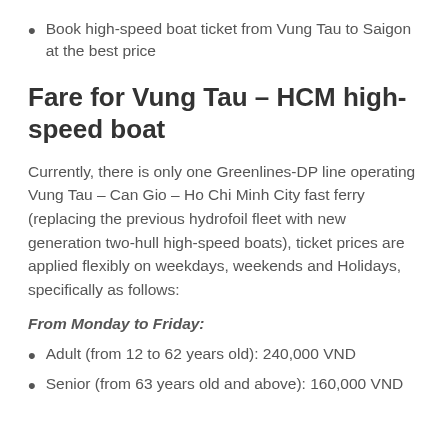Book high-speed boat ticket from Vung Tau to Saigon at the best price
Fare for Vung Tau – HCM high-speed boat
Currently, there is only one Greenlines-DP line operating Vung Tau – Can Gio – Ho Chi Minh City fast ferry (replacing the previous hydrofoil fleet with new generation two-hull high-speed boats), ticket prices are applied flexibly on weekdays, weekends and Holidays, specifically as follows:
From Monday to Friday:
Adult (from 12 to 62 years old): 240,000 VND
Senior (from 63 years old and above): 160,000 VND